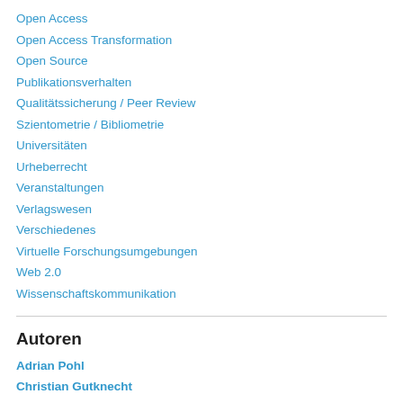Open Access
Open Access Transformation
Open Source
Publikationsverhalten
Qualitätssicherung / Peer Review
Szientometrie / Bibliometrie
Universitäten
Urheberrecht
Veranstaltungen
Verlagswesen
Verschiedenes
Virtuelle Forschungsumgebungen
Web 2.0
Wissenschaftskommunikation
Autoren
Adrian Pohl
Christian Gutknecht